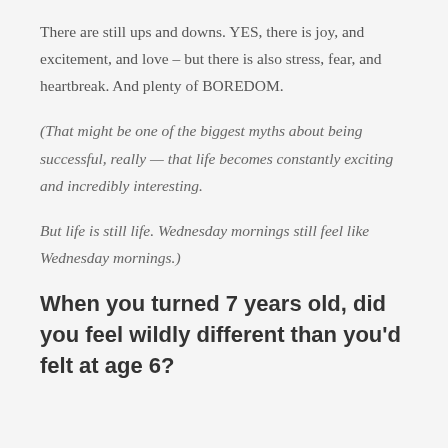There are still ups and downs. YES, there is joy, and excitement, and love – but there is also stress, fear, and heartbreak. And plenty of BOREDOM.
(That might be one of the biggest myths about being successful, really — that life becomes constantly exciting and incredibly interesting.
But life is still life. Wednesday mornings still feel like Wednesday mornings.)
When you turned 7 years old, did you feel wildly different than you'd felt at age 6?